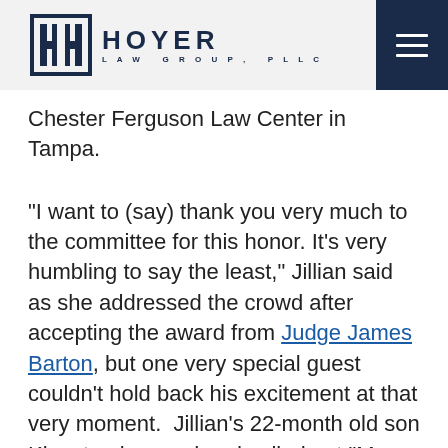HOYER LAW GROUP, PLLC
Chester Ferguson Law Center in Tampa.
“I want to (say) thank you very much to the committee for this honor. It’s very humbling to say the least,” Jillian said as she addressed the crowd after accepting the award from Judge James Barton, but one very special guest couldn’t hold back his excitement at that very moment.  Jillian’s 22-month old son Kingston beamed and called out “Ma Ma,” just after Jillian began to speak. Click on the video below to watch Jillian accept the award and see the priceless interruption by her number one fan.